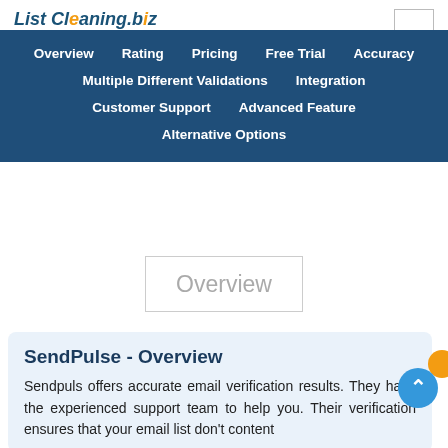List Cleaning (logo, partially visible)
Overview | Rating | Pricing | Free Trial | Accuracy | Multiple Different Validations | Integration | Customer Support | Advanced Feature | Alternative Options
Overview
SendPulse - Overview
Sendpuls offers accurate email verification results. They have the experienced support team to help you. Their verification ensures that your email list don't content